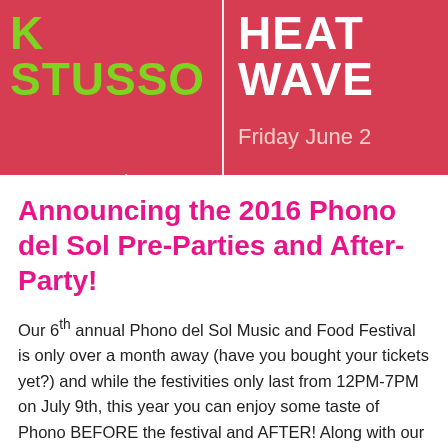[Figure (illustration): Banner image with red background showing two event panels side by side. Left panel: artist name 'K STUSSO' in large green text, date text 'ay June 17th' in light pink. Right panel: artist name 'HEAT WAVE' in large white text, date 'Friday June 2' in light pink.]
Announcing the 2016 Phono del Sol Pre-Parties and After-Party!
Our 6th annual Phono del Sol Music and Food Festival is only over a month away (have you bought your tickets yet?) and while the festivities only last from 12PM-7PM on July 9th, this year you can enjoy some taste of Phono BEFORE the festival and AFTER! Along with our best line-up yet (which features Chairlift, Alvvays, Born Ruffians, Mr Little Jeans and more), we'll be bringing our official Phono del Sol Pre-Parties and After-Party! Scroll down for more information. Phono del Sol Pre-Parties Don't want to wait